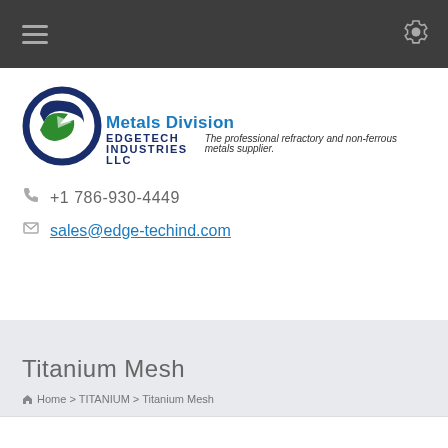Navigation bar with hamburger menu and settings gear icon
[Figure (logo): Edgetech Industries LLC logo — circular blue and green swoosh emblem with 'EDGETECH INDUSTRIES LLC' text and 'Metals Division' subtitle. Tagline: 'The professional refractory and non-ferrous metals supplier.']
+1 786-930-4449
sales@edge-techind.com
Titanium Mesh
Home > TITANIUM > Titanium Mesh